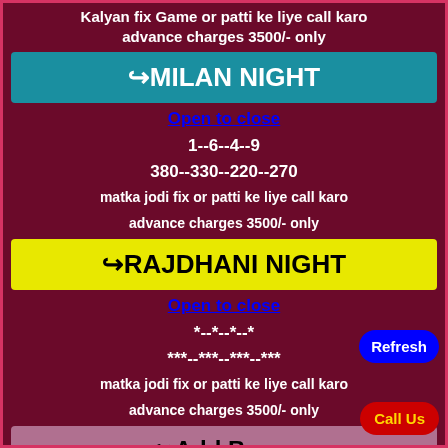Kalyan fix Game or patti ke liye call karo advance charges 3500/- only
↪MILAN NIGHT
Open to close
1--6--4--9
380--330--220--270
matka jodi fix or patti ke liye call karo
advance charges 3500/- only
↪RAJDHANI NIGHT
Open to close
*--*--*--*
***--***--***--***
matka jodi fix or patti ke liye call karo
advance charges 3500/- only
↪Add Bazar
Refresh
Open to close
Call Us